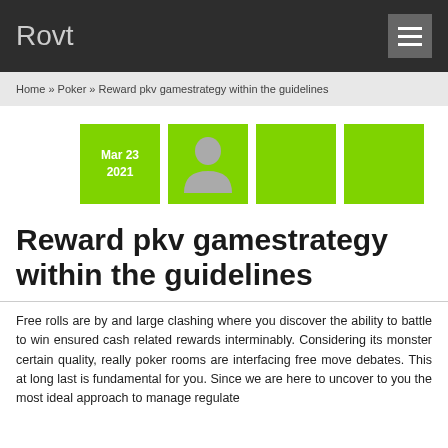Rovt
Home » Poker » Reward pkv gamestrategy within the guidelines
[Figure (infographic): Four lime-green square tiles in a row: first shows date 'Mar 23 2021', second shows a grey user avatar silhouette, third and fourth are plain lime-green squares.]
Reward pkv gamestrategy within the guidelines
Free rolls are by and large clashing where you discover the ability to battle to win ensured cash related rewards interminably. Considering its monster certain quality, really poker rooms are interfacing free move debates. This at long last is fundamental for you. Since we are here to uncover to you the most ideal approach to manage regulate